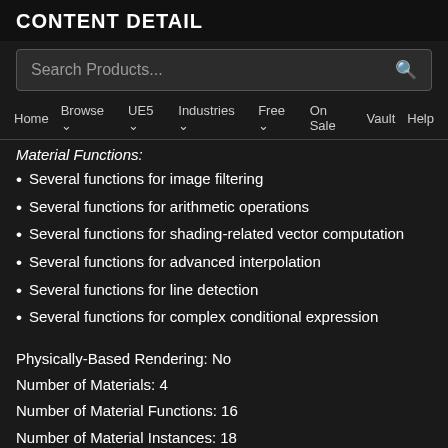CONTENT DETAIL
[Figure (screenshot): Search Products... input box with search icon]
Home  Browse ∨  UE5 ∨  Industries ∨  Free ∨  On Sale  Vault  Help
Material Functions:
Several functions for image filtering
Several functions for arithmetic operations
Several functions for shading-related vector computation
Several functions for advanced interpolation
Several functions for line detection
Several functions for complex conditional expression
Physically-Based Rendering: No
Number of Materials: 4
Number of Material Functions: 16
Number of Material Instances: 18